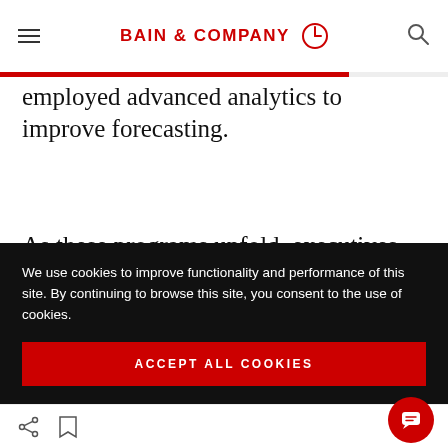BAIN & COMPANY
employed advanced analytics to improve forecasting.
As these programs unfold, executives should also be evaluating longer-term decisions, such as whether to shutter uncompetitive assets, how to use capital to reduce ongoing operations and
We use cookies to improve functionality and performance of this site. By continuing to browse this site, you consent to the use of cookies.
ACCEPT ALL COOKIES